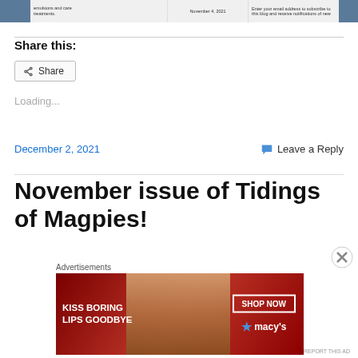[Figure (screenshot): Top banner with blog post thumbnails and sidebar elements showing emulsions and care treatments, November 4 2021 date, and email subscription prompt]
Share this:
Share
Loading...
December 2, 2021
Leave a Reply
November issue of Tidings of Magpies!
[Figure (screenshot): Advertisement banner: KISS BORING LIPS GOODBYE with SHOP NOW button and Macy's logo on red background with woman's face]
Advertisements
REPORT THIS AD